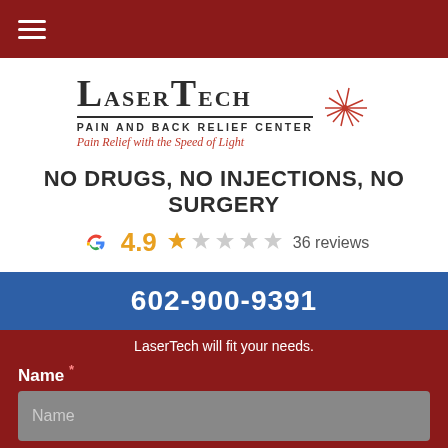LaserTech Pain and Back Relief Center
[Figure (logo): LaserTech Pain and Back Relief Center logo with red starburst graphic and tagline 'Pain Relief with the Speed of Light']
NO DRUGS, NO INJECTIONS, NO SURGERY
[Figure (other): Google G logo with rating 4.9 stars (one gold star shown, rest gray) and 36 reviews]
602-900-9391
LaserTech will fit your needs.
Name *
Phone *